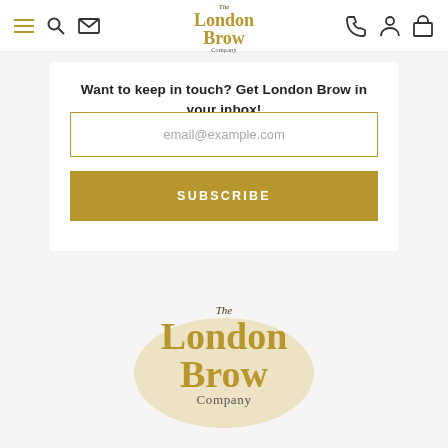The London Brow Company navigation bar
Want to keep in touch? Get London Brow in your inbox!
[Figure (screenshot): Email input field with placeholder text email@example.com and a gold Subscribe button]
[Figure (logo): The London Brow Company logo in gold serif font with decorative gold blob background]